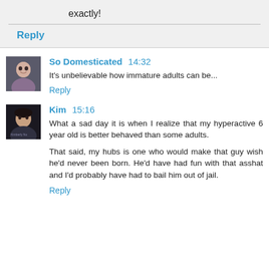exactly!
Reply
So Domesticated 14:32
It's unbelievable how immature adults can be...
Reply
Kim 15:16
What a sad day it is when I realize that my hyperactive 6 year old is better behaved than some adults.

That said, my hubs is one who would make that guy wish he'd never been born. He'd have had fun with that asshat and I'd probably have had to bail him out of jail.
Reply